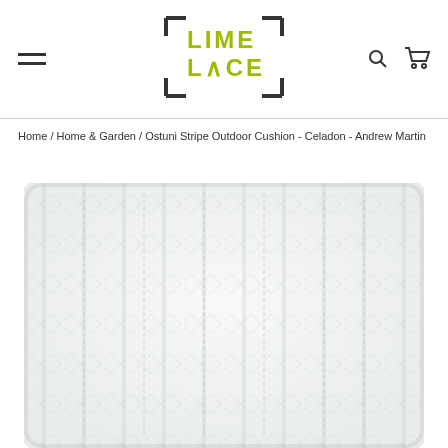[Figure (logo): Lime Lace logo with bracket frame and yellow-green text]
Home / Home & Garden / Ostuni Stripe Outdoor Cushion - Celadon - Andrew Martin
[Figure (photo): White outdoor cushion with a subtle geometric stripe/diamond woven texture pattern - Ostuni Stripe Outdoor Cushion in Celadon by Andrew Martin]